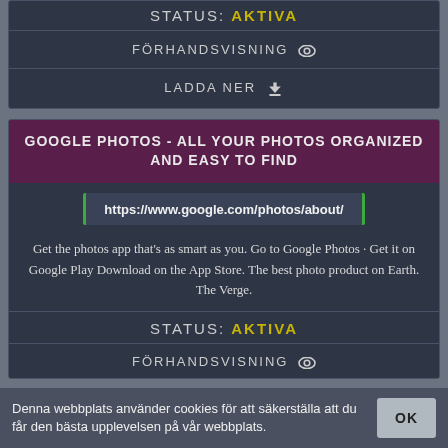STATUS: AKTIVA
FÖRHANDSVISNING
LADDA NER
GOOGLE PHOTOS - ALL YOUR PHOTOS ORGANIZED AND EASY TO FIND
https://www.google.com/photos/about/
Get the photos app that's as smart as you. Go to Google Photos · Get it on Google Play Download on the App Store. The best photo product on Earth. The Verge.
STATUS: AKTIVA
FÖRHANDSVISNING
Denna webbplats använder cookies för att säkerställa att du får den bästa upplevelsen på vår webbplats.